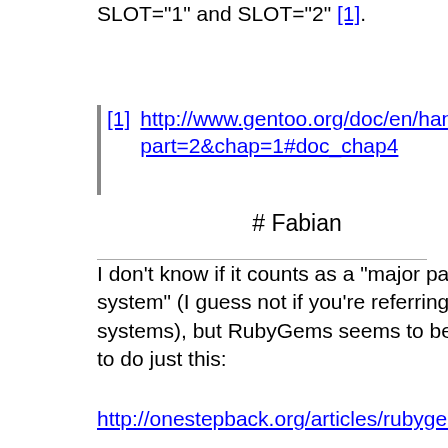SLOT="1" and SLOT="2" [1].
[1] http://www.gentoo.org/doc/en/handbook/x86.xml?part=2&chap=1#doc_chap4
# Fabian
I don't know if it counts as a "major packaging system" (I guess not if you're referring to OS systems), but RubyGems seems to be designed to do just this:
http://onestepback.org/articles/rubygemsfacet
But it of course requires doing things with require since it's not built-in to the language (at this point). I can imagine a similar tact in Python giving people fits.